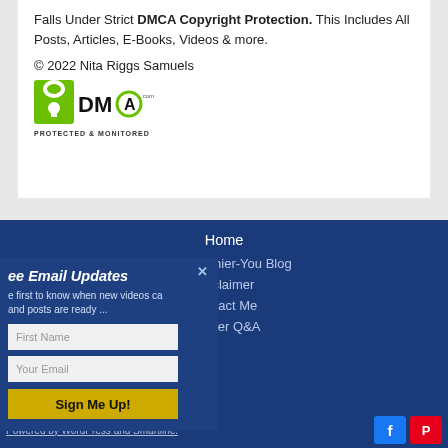Falls Under Strict DMCA Copyright Protection. This Includes All Posts, Articles, E-Books, Videos & more.
© 2022 Nita Riggs Samuels
[Figure (logo): DMCA Protected & Monitored badge logo]
Home
Nita-Healthier-You Blog
Disclaimer
Contact Me
Cancer Q&A
[Figure (infographic): Email signup popup overlay with title 'ee Email Updates', subtitle text, First Name field, Your Email field, and Sign Me Up! button]
Powered by WordPress and Smartline.